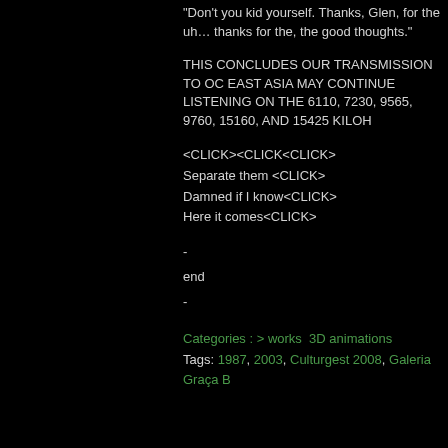“Don’t you kid yourself. Thanks, Glen, for the uh… thanks for the, the good thoughts.”
THIS CONCLUDES OUR TRANSMISSION TO OC EAST ASIA MAY CONTINUE LISTENING ON THE 6110, 7230, 9565, 9760, 15160, AND 15425 KILOH
<CLICK><CLICK<CLICK>
Separate them <CLICK>
Damned if I know<CLICK>
Here it comes<CLICK>
-
end
-
Categories : > works  3D animations
Tags: 1987, 2003, Culturgest 2008, Galeria Graça B